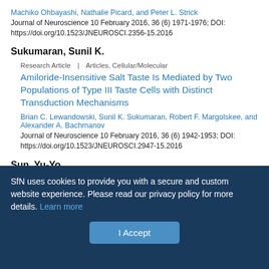Machiko Ohbayashi, Nathalie Picard, and Peter L. Strick
Journal of Neuroscience 10 February 2016, 36 (6) 1971-1976; DOI: https://doi.org/10.1523/JNEUROSCI.2356-15.2016
Sukumaran, Sunil K.
Research Article | Articles, Cellular/Molecular
Amiloride-Insensitive Salt Taste Is Mediated by Two Populations of Type III Taste Cells with Distinct Transduction Mechanisms
Brian C. Lewandowski, Sunil K. Sukumaran, Robert F. Margolskee, and Alexander A. Bachmanov
Journal of Neuroscience 10 February 2016, 36 (6) 1942-1953; DOI: https://doi.org/10.1523/JNEUROSCI.2947-15.2016
Sun, Yu-Yo
SfN uses cookies to provide you with a secure and custom website experience. Please read our privacy policy for more details. Learn more